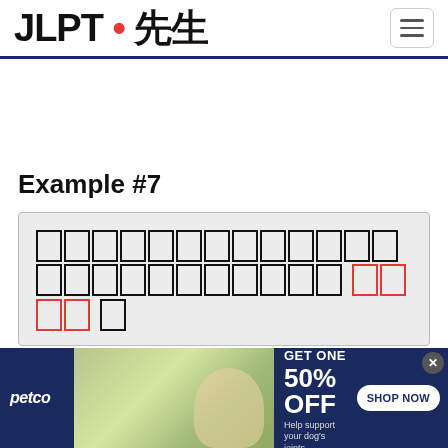JLPT 先生
Example #7
[Japanese sentence with blanks — hidden characters represented as empty boxes, last four boxes in red]
hint
romaji
English
[Figure (infographic): Petco advertisement banner: BUY ONE, GET ONE 50% OFF — Help support your dog's joints with a premium supplement. SHOP NOW button. Shows person with dog and supplement product.]